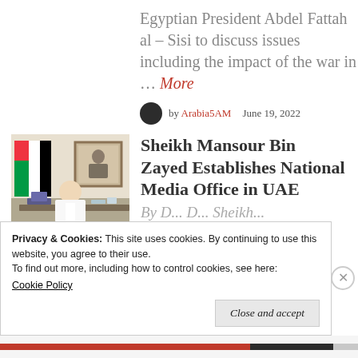Egyptian President Abdel Fattah al – Sisi to discuss issues including the impact of the war in … More
by Arabia5AM   June 19, 2022
[Figure (photo): Sheikh Mansour Bin Zayed seated at a desk with UAE flag and a framed portrait on the wall behind him.]
Sheikh Mansour Bin Zayed Establishes National Media Office in UAE
Privacy & Cookies: This site uses cookies. By continuing to use this website, you agree to their use.
To find out more, including how to control cookies, see here:
Cookie Policy
Close and accept